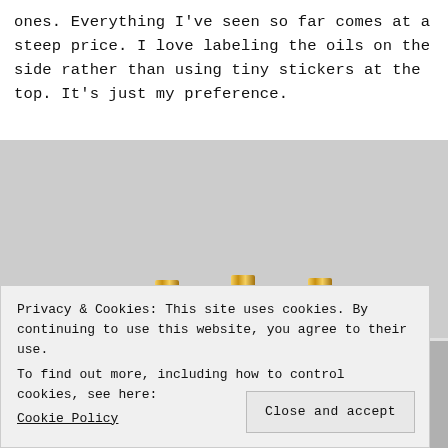ones. Everything I've seen so far comes at a steep price. I love labeling the oils on the side rather than using tiny stickers at the top. It's just my preference.
[Figure (photo): Multiple small gold/metallic essential oil bottles arranged on a white surface, viewed from the front showing their caps and bodies.]
Privacy & Cookies: This site uses cookies. By continuing to use this website, you agree to their use.
To find out more, including how to control cookies, see here:
Cookie Policy
Close and accept